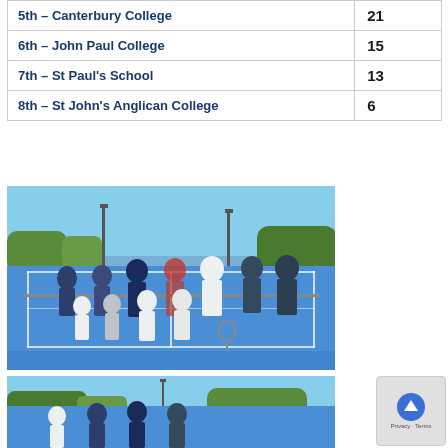| Placement | Score |
| --- | --- |
| 5th – Canterbury College | 21 |
| 6th – John Paul College | 15 |
| 7th – St Paul's School | 13 |
| 8th – St John's Anglican College | 6 |
[Figure (photo): Group of students in tennis uniforms posing on a blue tennis court, with trees and light poles visible in the background.]
[Figure (photo): Partial view of another group photo on a tennis court with blue sky and trees visible.]